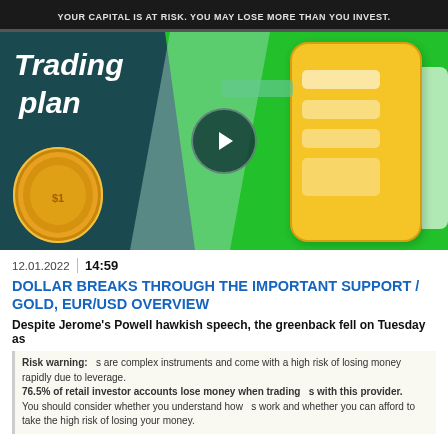YOUR CAPITAL IS AT RISK. YOU MAY LOSE MORE THAN YOU INVEST.
[Figure (illustration): Trading plan video thumbnail with green background, teal polygon shape, gold dollar coin, yellow smartphone device, play button, and 'Trading plan' text overlay.]
12.01.2022  14:59
DOLLAR BREAKS THROUGH THE IMPORTANT SUPPORT / GOLD, EUR/USD OVERVIEW
Despite Jerome's Powell hawkish speech, the greenback fell on Tuesday as
Risk warning:  s are complex instruments and come with a high risk of losing money rapidly due to leverage.
76.5% of retail investor accounts lose money when trading  s with this provider.
You should consider whether you understand how  s work and whether you can afford to take the high risk of losing your money.